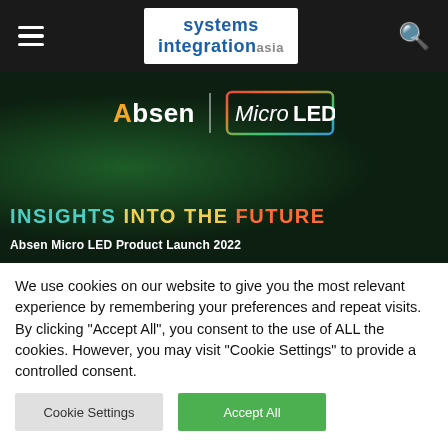Systems Integration Asia
[Figure (illustration): Absen MicroLED Product Launch 2022 banner on dark green background. Shows 'Absen | MicroLED' logos at top and text 'INSIGHTS INTO THE FUTURE' and 'Absen Micro LED Product Launch 2022' in large colorful text.]
We use cookies on our website to give you the most relevant experience by remembering your preferences and repeat visits. By clicking "Accept All", you consent to the use of ALL the cookies. However, you may visit "Cookie Settings" to provide a controlled consent.